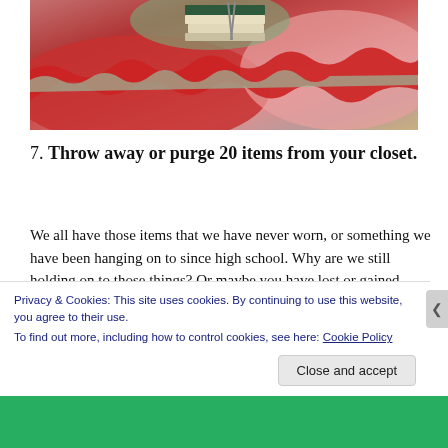[Figure (photo): Photo of colorful crocheted/knitted fabric in red, pink, and green colors with a stack of books visible at the top center]
7. Throw away or purge 20 items from your closet.
We all have those items that we have never worn, or something we have been hanging on to since high school. Why are we still holding on to those things? Or maybe you have lost or gained weight, the things
Privacy & Cookies: This site uses cookies. By continuing to use this website, you agree to their use.
To find out more, including how to control cookies, see here: Cookie Policy
Close and accept